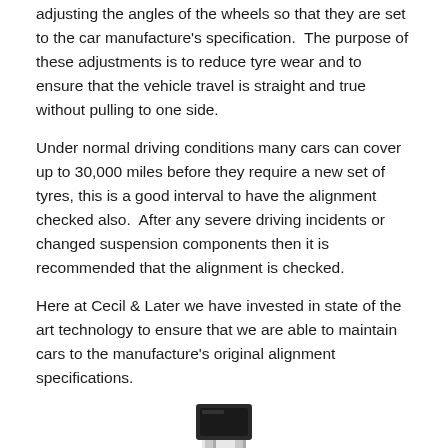adjusting the angles of the wheels so that they are set to the car manufacture's specification.  The purpose of these adjustments is to reduce tyre wear and to ensure that the vehicle travel is straight and true without pulling to one side.
Under normal driving conditions many cars can cover up to 30,000 miles before they require a new set of tyres, this is a good interval to have the alignment checked also.  After any severe driving incidents or changed suspension components then it is recommended that the alignment is checked.
Here at Cecil & Later we have invested in state of the art technology to ensure that we are able to maintain cars to the manufacture's original alignment specifications.
[Figure (photo): A tall metallic alignment measurement post or column with a dark square top unit, partially visible at the bottom of the page.]